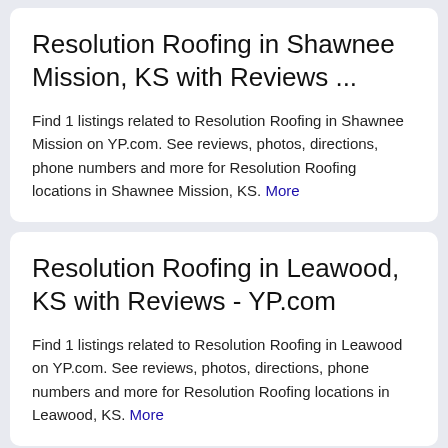Resolution Roofing in Shawnee Mission, KS with Reviews ...
Find 1 listings related to Resolution Roofing in Shawnee Mission on YP.com. See reviews, photos, directions, phone numbers and more for Resolution Roofing locations in Shawnee Mission, KS. More
Resolution Roofing in Leawood, KS with Reviews - YP.com
Find 1 listings related to Resolution Roofing in Leawood on YP.com. See reviews, photos, directions, phone numbers and more for Resolution Roofing locations in Leawood, KS. More